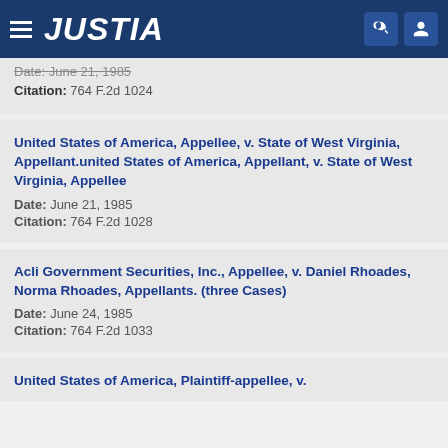JUSTIA
Date: June 21, 1985
Citation: 764 F.2d 1024
United States of America, Appellee, v. State of West Virginia, Appellant.united States of America, Appellant, v. State of West Virginia, Appellee
Date: June 21, 1985
Citation: 764 F.2d 1028
Acli Government Securities, Inc., Appellee, v. Daniel Rhoades, Norma Rhoades, Appellants. (three Cases)
Date: June 24, 1985
Citation: 764 F.2d 1033
United States of America, Plaintiff-appellee, v.